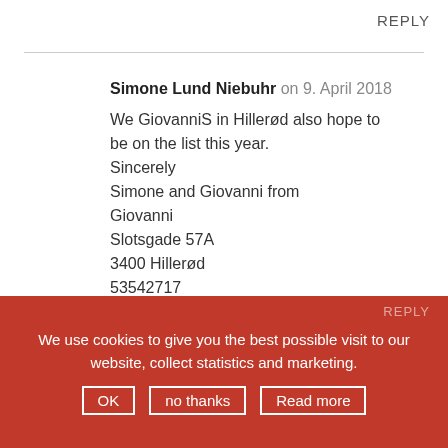REPLY
Simone Lund Niebuhr on 9. April 2018

We GiovanniS in Hillerød also hope to be on the list this year.
Sincerely
Simone and Giovanni from
Giovanni
Slotsgade 57A
3400 Hillerød
53542717
We use cookies to give you the best possible visit to our website, collect statistics and marketing.
OK  no thanks  Read more